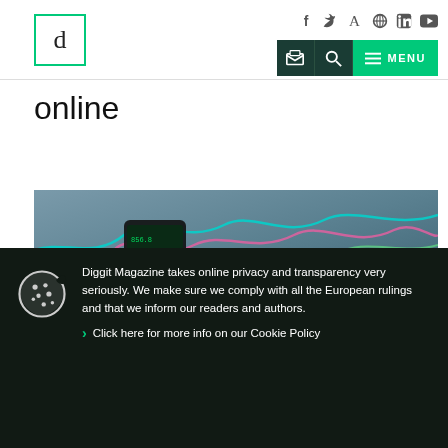[Figure (logo): Diggit Magazine logo — letter 'd' in a teal/green bordered square]
Social icons (f, Twitter, A, circle, LinkedIn, YouTube) and navigation buttons (inbox, search, MENU)
online
[Figure (photo): Hand holding a smartphone displaying stock market charts with colorful trading lines in background]
Diggit Magazine takes online privacy and transparency very seriously. We make sure we comply with all the European rulings and that we inform our readers and authors.
Click here for more info on our Cookie Policy